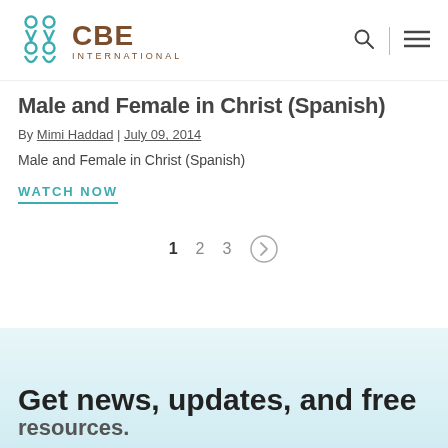[Figure (logo): CBE International logo with teal icon and brown text]
Male and Female in Christ (Spanish)
By Mimi Haddad | July 09, 2014
Male and Female in Christ (Spanish)
WATCH NOW
1  2  3  →
Get news, updates, and free